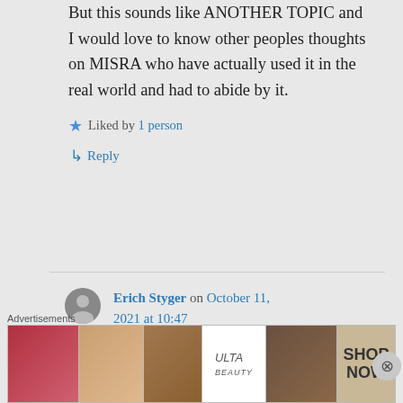But this sounds like ANOTHER TOPIC and I would love to know other peoples thoughts on MISRA who have actually used it in the real world and had to abide by it.
★ Liked by 1 person
↳ Reply
Erich Styger on October 11, 2021 at 10:47
Yes, MISRA or any coding
Advertisements